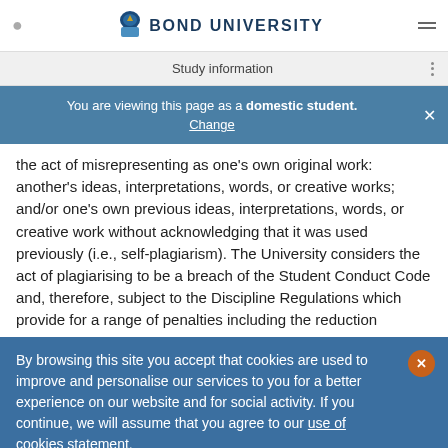BOND UNIVERSITY
Study information
You are viewing this page as a domestic student. Change
the act of misrepresenting as one's own original work: another's ideas, interpretations, words, or creative works; and/or one's own previous ideas, interpretations, words, or creative work without acknowledging that it was used previously (i.e., self-plagiarism). The University considers the act of plagiarising to be a breach of the Student Conduct Code and, therefore, subject to the Discipline Regulations which provide for a range of penalties including the reduction
By browsing this site you accept that cookies are used to improve and personalise our services to you for a better experience on our website and for social activity. If you continue, we will assume that you agree to our use of cookies statement.